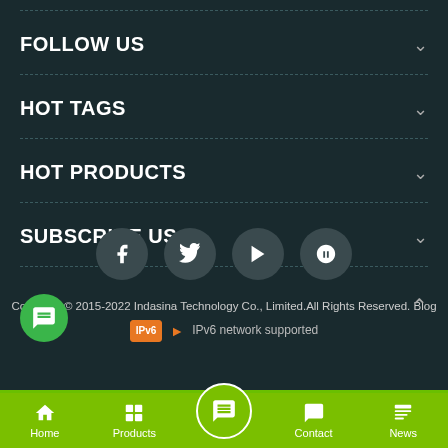FOLLOW US
HOT TAGS
HOT PRODUCTS
SUBSCRIBE US
[Figure (infographic): Social media icons in dark circles: Facebook (f), Twitter bird, YouTube play button, Blogger (B)]
Copyright © 2015-2022 Indasina Technology Co., Limited.All Rights Reserved.  Blog
IPv6 network supported
Home  Products  Contact  News